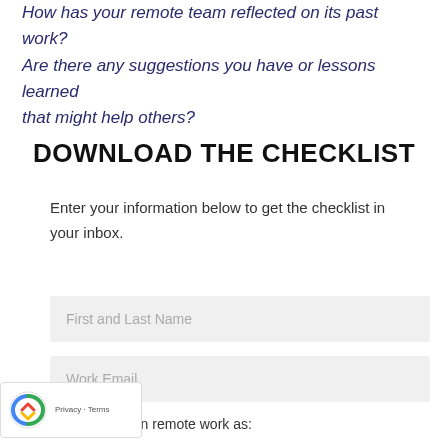How has your remote team reflected on its past work? Are there any suggestions you have or lessons learned that might help others?
DOWNLOAD THE CHECKLIST
Enter your information below to get the checklist in your inbox.
First and Last Name
Work Email
I'm interested in remote work as: